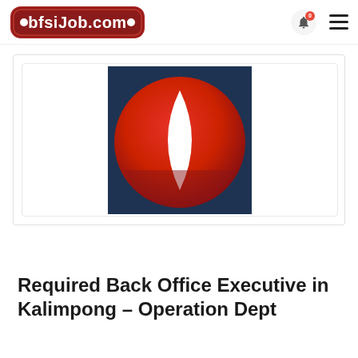bfsiJob.com
[Figure (logo): Vodafone-style logo: red circle with white leaf/eye shape on dark navy blue square background]
Required Back Office Executive in Kalimpong – Operation Dept